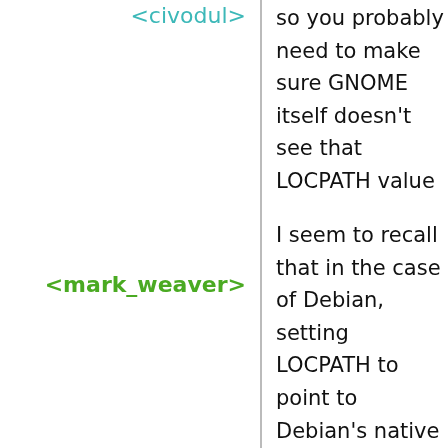<civodul>
so you probably need to make sure GNOME itself doesn't see that LOCPATH value
<mark_weaver>
I seem to recall that in the case of Debian, setting LOCPATH to point to Debian's native locales directory caused locales to fail for Guix-compiled software, which suggests that somehow our locale directory was incompatible with